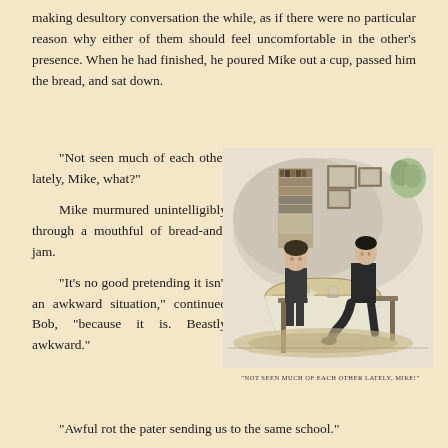making desultory conversation the while, as if there were no particular reason why either of them should feel uncomfortable in the other’s presence. When he had finished, he poured Mike out a cup, passed him the bread, and sat down.
“Not seen much of each other lately, Mike, what?”
Mike murmured unintelligibly through a mouthful of bread-and-jam.
“It’s no good pretending it isn’t an awkward situation,” continued Bob, “because it is. Beastly awkward.”
[Figure (illustration): Black and white illustration of two young men seated at a table having breakfast or tea, with bookshelves and framed pictures visible on the wall behind them.]
“NOT SEEN MUCH OF EACH OTHER LATELY, MIKE!”
“Awful rot the pater sending us to the same school.”